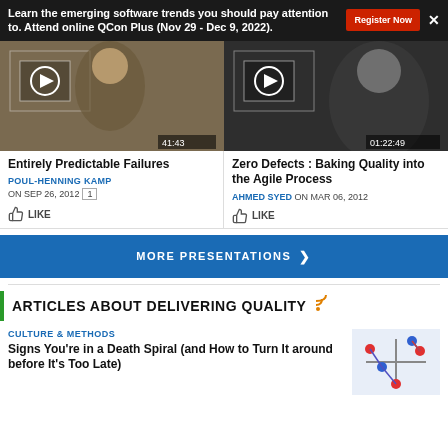Learn the emerging software trends you should pay attention to. Attend online QCon Plus (Nov 29 - Dec 9, 2022). Register Now
[Figure (screenshot): Video thumbnail of Entirely Predictable Failures presentation, duration 41:43]
[Figure (screenshot): Video thumbnail of Zero Defects: Baking Quality into the Agile Process presentation, duration 01:22:49]
Entirely Predictable Failures
POUL-HENNING KAMP ON SEP 26, 2012
Zero Defects : Baking Quality into the Agile Process
AHMED SYED ON MAR 06, 2012
MORE PRESENTATIONS
ARTICLES ABOUT DELIVERING QUALITY
CULTURE & METHODS
Signs You're in a Death Spiral (and How to Turn It around before It's Too Late)